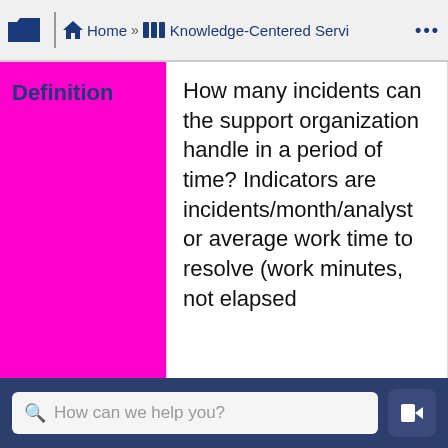Home » Knowledge-Centered Servi ...
| Definition |  |
| --- | --- |
| Definition | How many incidents can the support organization handle in a period of time? Indicators are incidents/month/analyst or average work time to resolve (work minutes, not elapsed |
How can we help you?